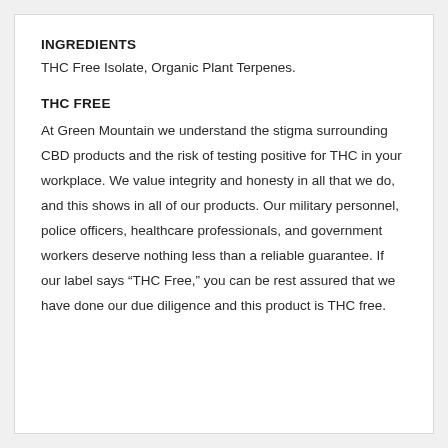INGREDIENTS
THC Free Isolate, Organic Plant Terpenes.
THC FREE
At Green Mountain we understand the stigma surrounding CBD products and the risk of testing positive for THC in your workplace. We value integrity and honesty in all that we do, and this shows in all of our products. Our military personnel, police officers, healthcare professionals, and government workers deserve nothing less than a reliable guarantee. If our label says “THC Free,” you can be rest assured that we have done our due diligence and this product is THC free.